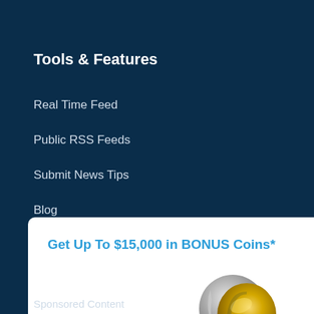Tools & Features
Real Time Feed
Public RSS Feeds
Submit News Tips
Blog
[Figure (infographic): Popup advertisement: 'Get Up To $15,000 in BONUS Coins*' with a gold and silver coin logo, a 'CLAIM NOW' button, and a Disclosure link. Includes a close (X) button.]
Sponsored Content